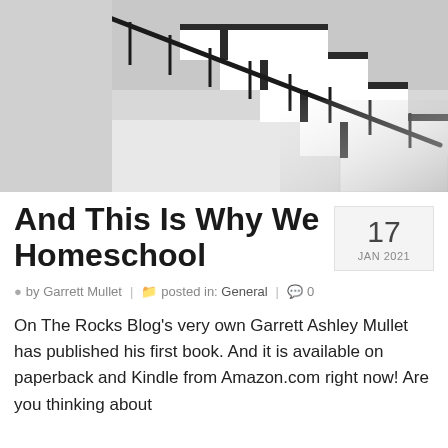[Figure (photo): Black and white photograph of a modern staircase with metal railing and geometric steps ascending from right to left against a light gray background.]
And This Is Why We Homeschool
17 JAN 2021
by Garrett Mullet | posted in: General | 0
On The Rocks Blog's very own Garrett Ashley Mullet has published his first book. And it is available on paperback and Kindle from Amazon.com right now! Are you thinking about